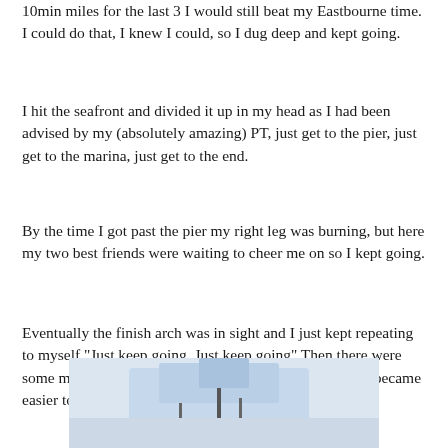10min miles for the last 3 I would still beat my Eastbourne time. I could do that, I knew I could, so I dug deep and kept going.
I hit the seafront and divided it up in my head as I had been advised by my (absolutely amazing) PT, just get to the pier, just get to the marina, just get to the end.
By the time I got past the pier my right leg was burning, but here my two best friends were waiting to cheer me on so I kept going.
Eventually the finish arch was in sight and I just kept repeating to myself "Just keep going, Just keep going" Then there were some more RPCC supporters screaming my name and it became easier to keep running.
[Figure (photo): Partial photo of a running event or finish area, partially cropped at the bottom of the page.]